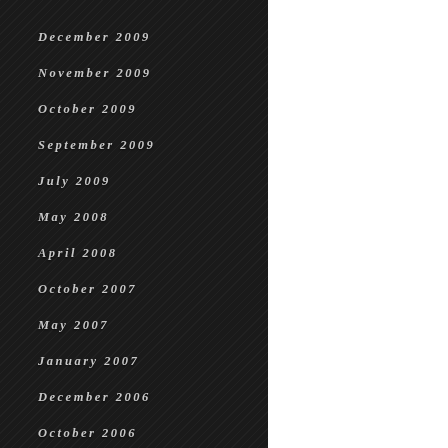December 2009
November 2009
October 2009
September 2009
July 2009
May 2008
April 2008
October 2007
May 2007
January 2007
December 2006
October 2006
September 2006